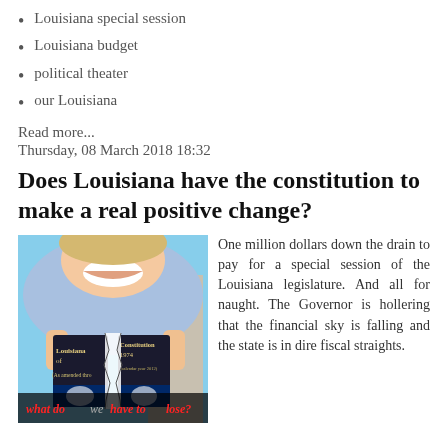Louisiana special session
Louisiana budget
political theater
our Louisiana
Read more...
Thursday, 08 March 2018 18:32
Does Louisiana have the constitution to make a real positive change?
[Figure (photo): A person tearing a Louisiana Constitution 1974 booklet in half, with red text overlay reading 'what do we have to lose?']
One million dollars down the drain to pay for a special session of the Louisiana legislature. And all for naught. The Governor is hollering that the financial sky is falling and the state is in dire fiscal straights.